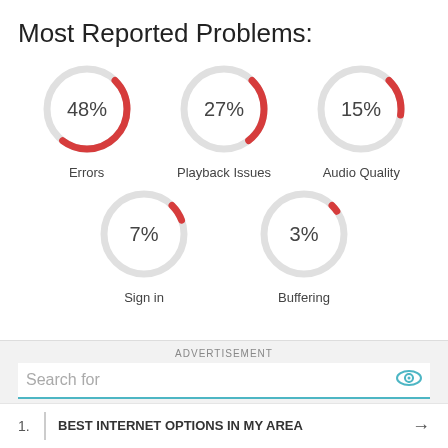Most Reported Problems:
[Figure (donut-chart): Most Reported Problems]
ADVERTISEMENT
Search for
BEST INTERNET OPTIONS IN MY AREA